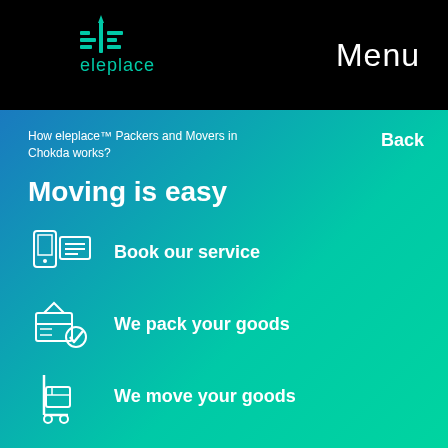[Figure (logo): eleplace logo with teal icon and text on black background]
Menu
How eleplace™ Packers and Movers in Chokda works?
Back
Moving is easy
Book our service
We pack your goods
We move your goods
We unpack your goods